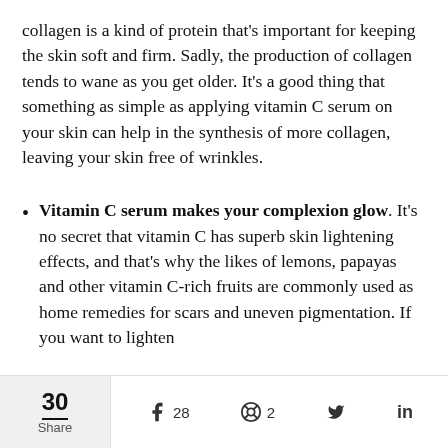collagen is a kind of protein that's important for keeping the skin soft and firm. Sadly, the production of collagen tends to wane as you get older. It's a good thing that something as simple as applying vitamin C serum on your skin can help in the synthesis of more collagen, leaving your skin free of wrinkles.
Vitamin C serum makes your complexion glow. It's no secret that vitamin C has superb skin lightening effects, and that's why the likes of lemons, papayas and other vitamin C-rich fruits are commonly used as home remedies for scars and uneven pigmentation. If you want to lighten
30 Share  28  2  [Twitter]  in